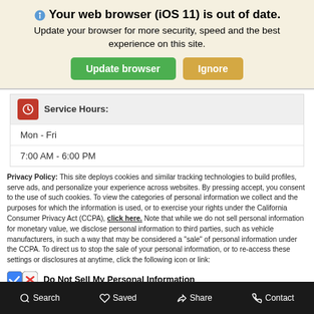🌐 Your web browser (iOS 11) is out of date. Update your browser for more security, speed and the best experience on this site.
[Figure (screenshot): Browser update notification banner with 'Update browser' green button and 'Ignore' orange button]
Service Hours:
Mon - Fri
7:00 AM - 6:00 PM
Privacy Policy: This site deploys cookies and similar tracking technologies to build profiles, serve ads, and personalize your experience across websites. By pressing accept, you consent to the use of such cookies. To view the categories of personal information we collect and the purposes for which the information is used, or to exercise your rights under the California Consumer Privacy Act (CCPA), click here. Note that while we do not sell personal information for monetary value, we disclose personal information to third parties, such as vehicle manufacturers, in such a way that may be considered a "sale" of personal information under the CCPA. To direct us to stop the sale of your personal information, or to re-access these settings or disclosures at anytime, click the following icon or link:
Do Not Sell My Personal Information
Language: English
Powered by ComplyAuto
Accept and Continue →
California Privacy Disclosures
Search  Saved  Share  Contact